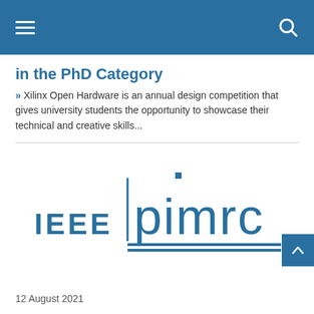Navigation header with hamburger menu and search icon
in the PhD Category
» Xilinx Open Hardware is an annual design competition that gives university students the opportunity to showcase their technical and creative skills...
[Figure (logo): IEEE PIMRC logo — 'IEEE' in bold blue uppercase on the left, 'pimrc' in large blue lowercase with a dot above the 'i' on the right, with two horizontal blue lines beneath]
12 August 2021